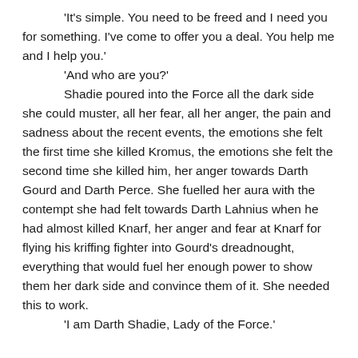'It's simple. You need to be freed and I need you for something. I've come to offer you a deal. You help me and I help you.'
'And who are you?'
Shadie poured into the Force all the dark side she could muster, all her fear, all her anger, the pain and sadness about the recent events, the emotions she felt the first time she killed Kromus, the emotions she felt the second time she killed him, her anger towards Darth Gourd and Darth Perce. She fuelled her aura with the contempt she had felt towards Darth Lahnius when he had almost killed Knarf, her anger and fear at Knarf for flying his kriffing fighter into Gourd's dreadnought, everything that would fuel her enough power to show them her dark side and convince them of it. She needed this to work.
'I am Darth Shadie, Lady of the Force.'